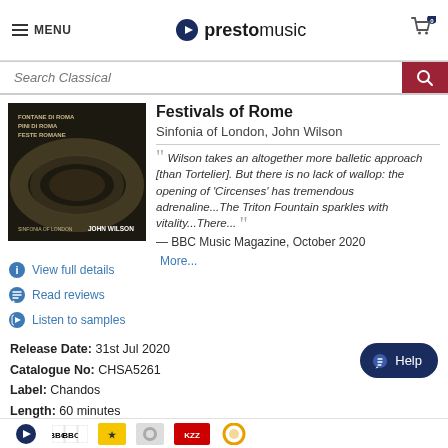MENU | prestomusic | Cart: 0
Search Classical
[Figure (photo): Album cover for Fontane di Roma / Pini di Roma / Feste Romane by John Wilson and Sinfonia of London, dark sepia image of Roman Colosseum]
View full details
Read reviews
Listen to samples
Festivals of Rome
Sinfonia of London, John Wilson
Wilson takes an altogether more balletic approach [than Tortelier]. But there is no lack of wallop: the opening of 'Circenses' has tremendous adrenaline...The Triton Fountain sparkles with vitality...There...
— BBC Music Magazine, October 2020
More...
Release Date: 31st Jul 2020
Catalogue No: CHSA5261
Label: Chandos
Length: 60 minutes
[Figure (logo): BBC logo and other publisher/media logos at bottom strip]